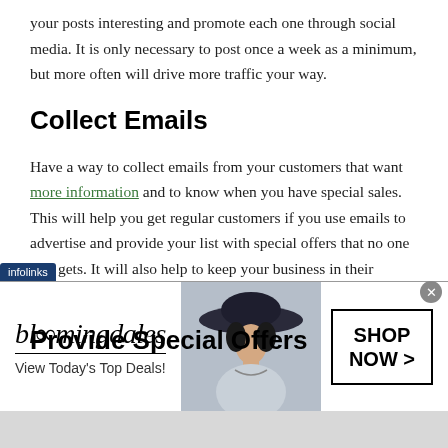your posts interesting and promote each one through social media. It is only necessary to post once a week as a minimum, but more often will drive more traffic your way.
Collect Emails
Have a way to collect emails from your customers that want more information and to know when you have special sales. This will help you get regular customers if you use emails to advertise and provide your list with special offers that no one else gets. It will also help to keep your business in their minds.
Provide Special Offers
[Figure (screenshot): Bloomingdale's advertisement banner with infolinks label, showing bloomingdales logo, 'View Today's Top Deals!' tagline, woman in wide-brim hat, and 'SHOP NOW >' call-to-action button]